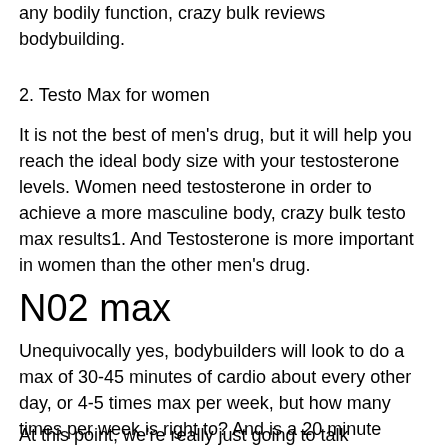any bodily function, crazy bulk reviews bodybuilding.
2. Testo Max for women
It is not the best of men's drug, but it will help you reach the ideal body size with your testosterone levels. Women need testosterone in order to achieve a more masculine body, crazy bulk testo max results1. And Testosterone is more important in women than the other men's drug.
N02 max
Unequivocally yes, bodybuilders will look to do a max of 30-45 minutes of cardio about every other day, or 4-5 times max per week, but how many times per week is right to? And is a 20 minute workout worth the $6,000 that it will cost you on your daily spending?
At this point, we're really just going to talk